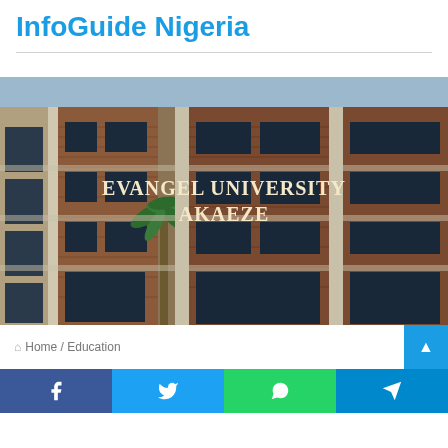InfoGuide Nigeria
[Figure (photo): University building exterior photo with brick facade, white columns, dark windows, palm tree visible on left. Text overlay reads EVANGEL UNIVERSITY AKAEZE]
🏠 Home / Education
Social share buttons: Facebook, Twitter, WhatsApp, Telegram